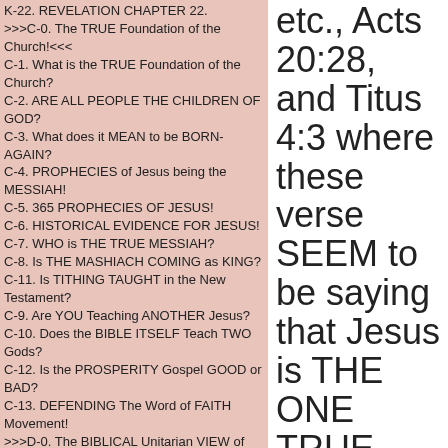K-22. REVELATION CHAPTER 22.
>>>C-0. The TRUE Foundation of the Church!<<<
C-1. What is the TRUE Foundation of the Church?
C-2. ARE ALL PEOPLE THE CHILDREN OF GOD?
C-3. What does it MEAN to be BORN-AGAIN?
C-4. PROPHECIES of Jesus being the MESSIAH!
C-5. 365 PROPHECIES OF JESUS!
C-6. HISTORICAL EVIDENCE FOR JESUS!
C-7. WHO is THE TRUE MESSIAH?
C-8. Is THE MASHIACH COMING as KING?
C-11. Is TITHING TAUGHT in the New Testament?
C-9. Are YOU Teaching ANOTHER Jesus?
C-10. Does the BIBLE ITSELF Teach TWO Gods?
C-12. Is the PROSPERITY Gospel GOOD or BAD?
C-13. DEFENDING The Word of FAITH Movement!
>>>D-0. The BIBLICAL Unitarian VIEW of Jesus<<<
D-1. WHAT is BIBLICAL UNITARIANISM?
D-2. WHO is THE ONE TRUE GOD?
D-3. Our God is the ONE TRUE God in ONE Person!
D-4. Is JESUS GOD?
D-5. ARE THERE TWO GODS?
D-6. Is BIBLICAL UNITARIANISM POLYTHEISM?
D-7. SHOULD WE WORSHIP JESUS?
D-8. WHY DID GOD HIGHLY EXALT JESUS?
etc., Acts 20:28, and Titus 4:3 where these verse SEEM to be saying that Jesus is THE ONE TRUE and ONLY ALMIGHTY God.
Here is Textual